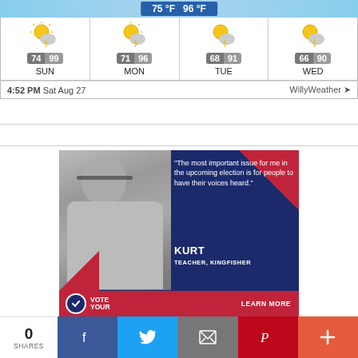[Figure (screenshot): Weather widget showing sunny/cloudy weather icons. Top bar shows 75°F and 96°F. Four-day forecast: SUN 74/99, MON 71/96, TUE 68/91, WED 66/90. Footer shows 4:52 PM Sat Aug 27 and WillyWeather brand.]
[Figure (photo): Political advertisement featuring a man named Kurt, Teacher from Kingfisher, with quote: 'The most important issue for me in the upcoming election is for people to have their voices heard.' VOTE YOUR branding at bottom with LEARN MORE.]
0 SHARES
[Figure (infographic): Social share bar with Facebook, Twitter, Email, Pinterest, and More (+) buttons.]